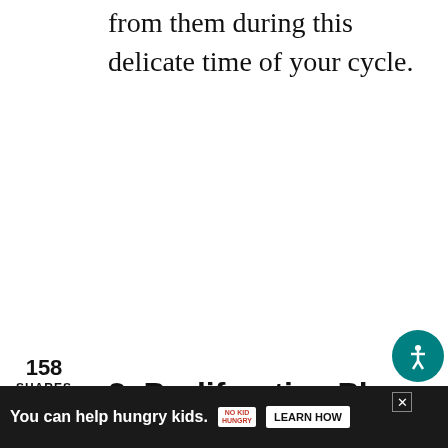from them during this delicate time of your cycle.
158
SHARES
[Figure (infographic): Social media sharing sidebar with Facebook (blue), Twitter (cyan), and Pinterest (red) buttons. Shows 158 shares count at top and 158 save count on Pinterest button.]
2. Proliferative Phase
[Figure (infographic): Advertisement bar at bottom: dark background with text 'You can help hungry kids.' No Kid Hungry logo and LEARN HOW button. Close X button top right.]
[Figure (infographic): Accessibility icon button (teal circle with person symbol) at bottom right.]